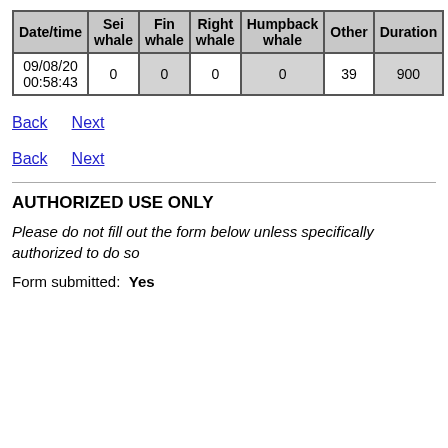| Date/time | Sei whale | Fin whale | Right whale | Humpback whale | Other | Duration |
| --- | --- | --- | --- | --- | --- | --- |
| 09/08/20 00:58:43 | 0 | 0 | 0 | 0 | 39 | 900 |
Back  Next
Back  Next
AUTHORIZED USE ONLY
Please do not fill out the form below unless specifically authorized to do so
Form submitted:  Yes